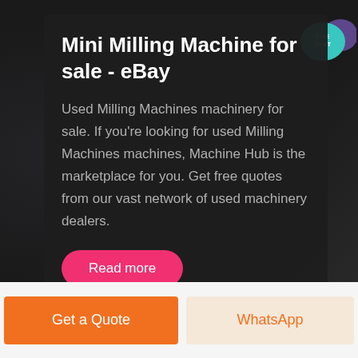Mini Milling Machine for sale - eBay
Used Milling Machines machinery for sale. If you're looking for used Milling Machines machines, Machine Hub is the marketplace for you. Get free quotes from our vast network of used machinery dealers.
[Figure (infographic): Live Chat speech bubble icon in teal/cyan with purple overlapping bubble, labeled LIVE CHAT]
Read more
Get a Quote
WhatsApp